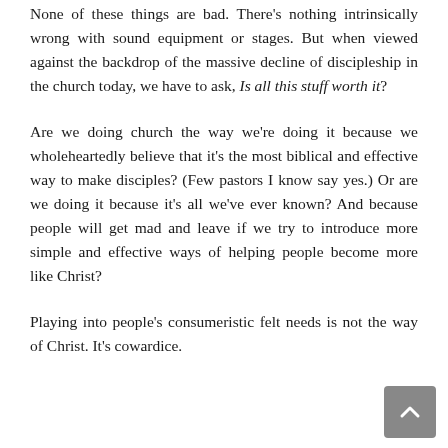None of these things are bad. There's nothing intrinsically wrong with sound equipment or stages. But when viewed against the backdrop of the massive decline of discipleship in the church today, we have to ask, Is all this stuff worth it?
Are we doing church the way we're doing it because we wholeheartedly believe that it's the most biblical and effective way to make disciples? (Few pastors I know say yes.) Or are we doing it because it's all we've ever known? And because people will get mad and leave if we try to introduce more simple and effective ways of helping people become more like Christ?
Playing into people's consumeristic felt needs is not the way of Christ. It's cowardice.